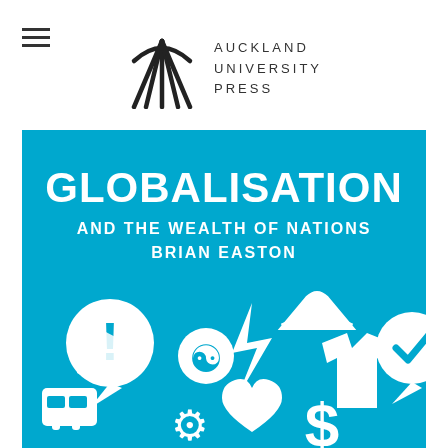[Figure (logo): Auckland University Press logo: stylized arch/gateway mark with text 'AUCKLAND UNIVERSITY PRESS' in spaced capitals]
[Figure (illustration): Book cover for 'Globalisation and the Wealth of Nations' by Brian Easton. Bright blue/teal background with large white bold text. Lower portion features white silhouette icons including a speech bubble with exclamation mark, yin-yang symbol, lightning bolt, clothes hanger, coat/shirt, speech bubble with checkmark, euro sign, dollar sign, gear/cog, heart, and other symbols.]